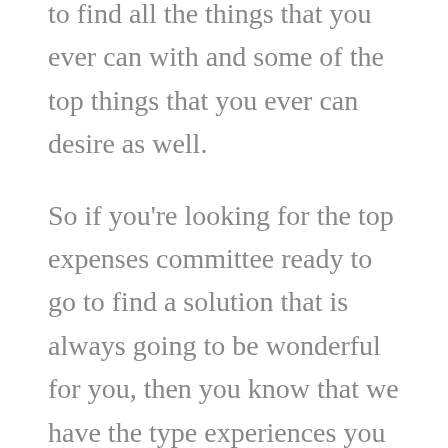to find all the things that you ever can with and some of the top things that you ever can desire as well.
So if you're looking for the top expenses committee ready to go to find a solution that is always going to be wonderful for you, then you know that we have the type experiences you ever can desire as well. So if you want some the things coming find a place that is going to be completely wonderful for you and always amazing since I'm, then you know that we have